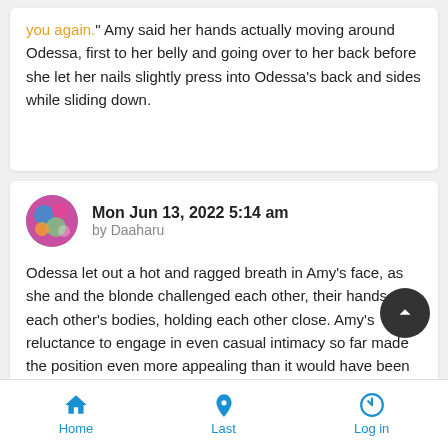you again." Amy said her hands actually moving around Odessa, first to her belly and going over to her back before she let her nails slightly press into Odessa's back and sides while sliding down.
Mon Jun 13, 2022 5:14 am
by Daaharu
Odessa let out a hot and ragged breath in Amy's face, as she and the blonde challenged each other, their hands on each other's bodies, holding each other close. Amy's reluctance to engage in even casual intimacy so far made the position even more appealing than it would have been otherwise. Odessa savored the scent of the blonde forbidden fruit as she pressed her n... against Amy's and gazed intently into her new rival's eyes. He...
Home   Last   Log in